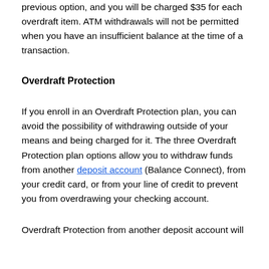previous option, and you will be charged $35 for each overdraft item. ATM withdrawals will not be permitted when you have an insufficient balance at the time of a transaction.
Overdraft Protection
If you enroll in an Overdraft Protection plan, you can avoid the possibility of withdrawing outside of your means and being charged for it. The three Overdraft Protection plan options allow you to withdraw funds from another deposit account (Balance Connect), from your credit card, or from your line of credit to prevent you from overdrawing your checking account.
Overdraft Protection from another deposit account will